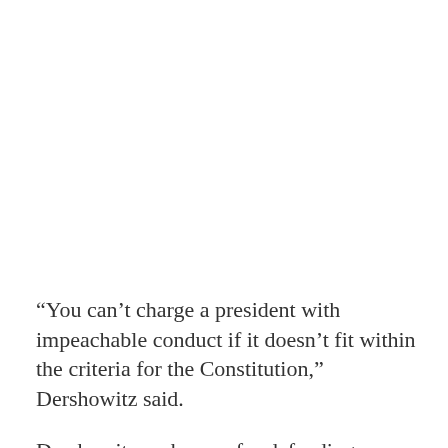“You can’t charge a president with impeachable conduct if it doesn’t fit within the criteria for the Constitution,” Dershowitz said.
Dershowitz — known for defending sex offender Jeffre Epstein — —